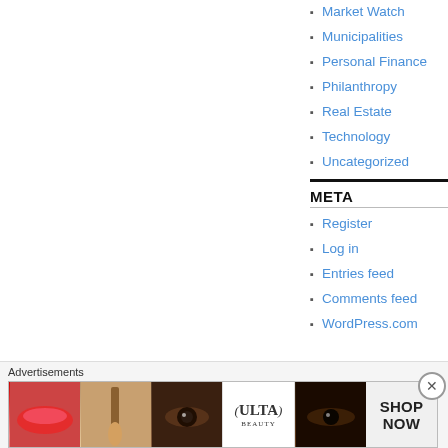Market Watch
Municipalities
Personal Finance
Philanthropy
Real Estate
Technology
Uncategorized
META
Register
Log in
Entries feed
Comments feed
WordPress.com
Advertisements
[Figure (photo): Ulta beauty advertisement banner showing cosmetics imagery including lips, makeup brush, eye, Ulta Beauty logo, and a shop now call to action]